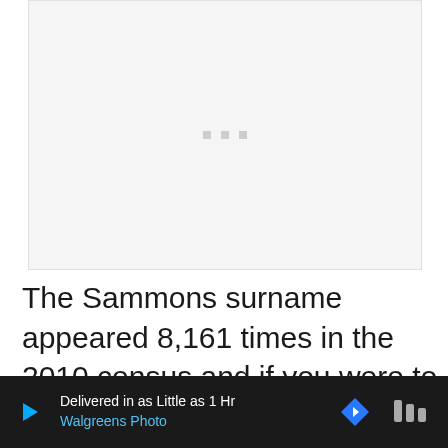[Figure (other): Loading placeholder area with three small grey dots centered in a light grey rectangle]
The Sammons surname appeared 8,161 times in the 2010 census and if you were to sample 100,000 people in the United States, approximately 2.77 would have the surname S...
[Figure (other): Advertisement banner: 'Delivered in as Little as 1 Hr / Walgreens Photo' with play button icon, navigation arrow icon, and audio icon on dark background]